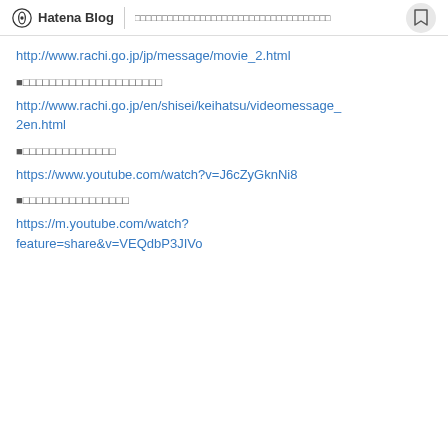Hatena Blog | □□□□□□□□□□□□□□□□□□□□□□□□□□□□□□□□□□□
http://www.rachi.go.jp/jp/message/movie_2.html
■□□□□□□□□□□□□□□□□□□□□□
http://www.rachi.go.jp/en/shisei/keihatsu/videomessage_2en.html
■□□□□□□□□□□□□□□
https://www.youtube.com/watch?v=J6cZyGknNi8
■□□□□□□□□□□□□□□□□
https://m.youtube.com/watch?feature=share&v=VEQdbP3JIVo